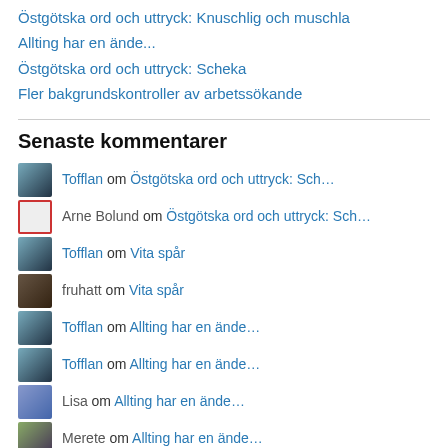Östgötska ord och uttryck: Knuschlig och muschla
Allting har en ände...
Östgötska ord och uttryck: Scheka
Fler bakgrundskontroller av arbetssökande
Senaste kommentarer
Tofflan om Östgötska ord och uttryck: Sch…
Arne Bolund om Östgötska ord och uttryck: Sch…
Tofflan om Vita spår
fruhatt om Vita spår
Tofflan om Allting har en ände…
Tofflan om Allting har en ände…
Lisa om Allting har en ände…
Merete om Allting har en ände…
Tofflan om Allting har en ände…
johannasdeckarhorna om Allting har en ände…
Tofflan om Allting har en ände…
johannasdeckarhorna om Allting har en ände…